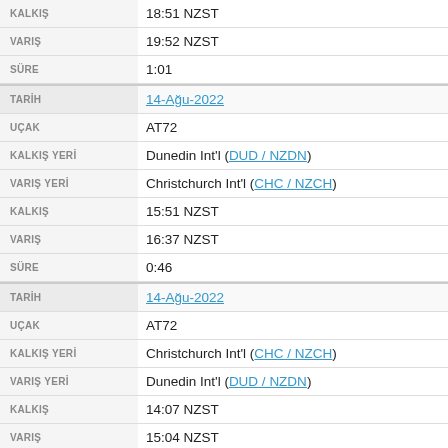| Label | Value |
| --- | --- |
| KALKIŞ | 18:51 NZST (partial, top cut) |
| VARIŞ | 19:52 NZST |
| SÜRE | 1:01 |
| TARİH | 14-Ağu-2022 |
| UÇAK | AT72 |
| KALKIŞ YERİ | Dunedin Int'l (DUD / NZDN) |
| VARIŞ YERİ | Christchurch Int'l (CHC / NZCH) |
| KALKIŞ | 15:51 NZST |
| VARIŞ | 16:37 NZST |
| SÜRE | 0:46 |
| TARİH | 14-Ağu-2022 |
| UÇAK | AT72 |
| KALKIŞ YERİ | Christchurch Int'l (CHC / NZCH) |
| VARIŞ YERİ | Dunedin Int'l (DUD / NZDN) |
| KALKIŞ | 14:07 NZST |
| VARIŞ | 15:04 NZST |
| SÜRE | 0:57 |
| TARİH | 13-Ağu-2022 |
| UÇAK | AT76 |
| KALKIŞ YERİ | Napier (NPE / NZNR) |
| VARIŞ YERİ | Christchurch Int'l (CHC / NZCH) |